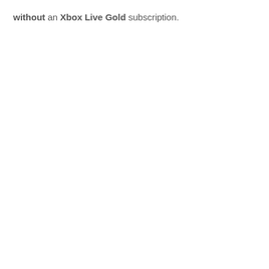without an Xbox Live Gold subscription.